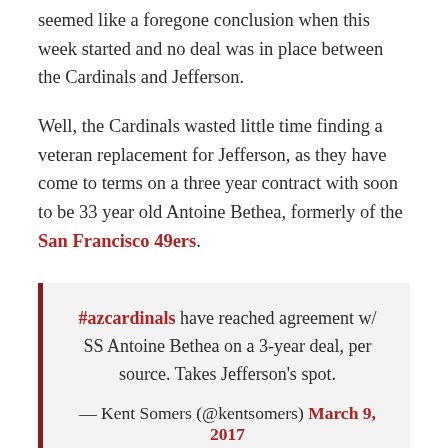seemed like a foregone conclusion when this week started and no deal was in place between the Cardinals and Jefferson.
Well, the Cardinals wasted little time finding a veteran replacement for Jefferson, as they have come to terms on a three year contract with soon to be 33 year old Antoine Bethea, formerly of the San Francisco 49ers.
#azcardinals have reached agreement w/ SS Antoine Bethea on a 3-year deal, per source. Takes Jefferson's spot.
— Kent Somers (@kentsomers) March 9, 2017